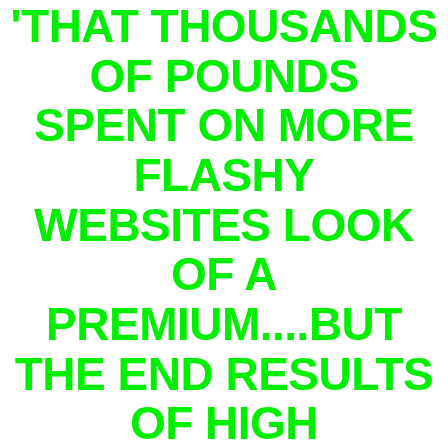'THAT THOUSANDS OF POUNDS SPENT ON MORE FLASHY WEBSITES LOOK OF A PREMIUM....BUT THE END RESULTS OF HIGH MARKETING COSTS WOULD ONLY RESULT IN A MORE EXPENSIVE END COST TO OUR CUSTOMERS. RE-GLAZE-IT DERBY IS A LOW COST GLASS DOUBLE GLAZED UNIT